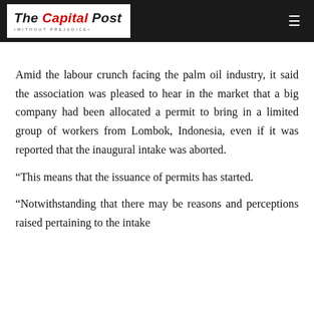The Capital Post · Without Prejudice
Amid the labour crunch facing the palm oil industry, it said the association was pleased to hear in the market that a big company had been allocated a permit to bring in a limited group of workers from Lombok, Indonesia, even if it was reported that the inaugural intake was aborted.
“This means that the issuance of permits has started.
“Notwithstanding that there may be reasons and perceptions raised pertaining to the intake